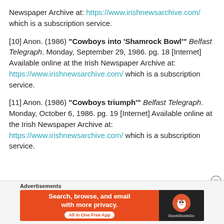Newspaper Archive at: https://www.irishnewsarchive.com/ which is a subscription service.
[10] Anon. (1986) "Cowboys into 'Shamrock Bowl'" Belfast Telegraph. Monday, September 29, 1986. pg. 18 [Internet] Available online at the Irish Newspaper Archive at: https://www.irishnewsarchive.com/ which is a subscription service.
[11] Anon. (1986) "Cowboys triumph'" Belfast Telegraph. Monday, October 6, 1986. pg. 19 [Internet] Available online at the Irish Newspaper Archive at: https://www.irishnewsarchive.com/ which is a subscription service.
[Figure (screenshot): Advertisement banner for DuckDuckGo: 'Search, browse, and email with more privacy. All in One Free App' with DuckDuckGo logo on dark background.]